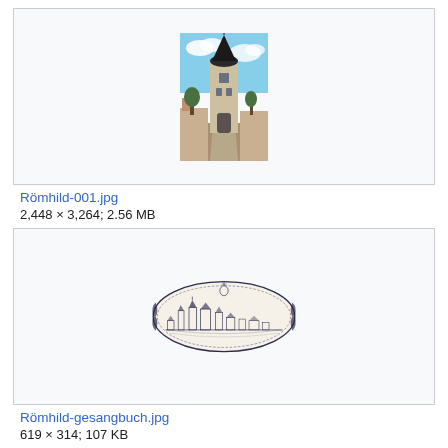[Figure (photo): Thumbnail of Römhild church tower photograph in a light grey bordered box]
Römhild-001.jpg
2,448 × 3,264; 2.56 MB
[Figure (illustration): Thumbnail of Römhild-gesangbuch engraving showing a town panorama in an oval ornamental frame]
Römhild-gesangbuch.jpg
619 × 314; 107 KB